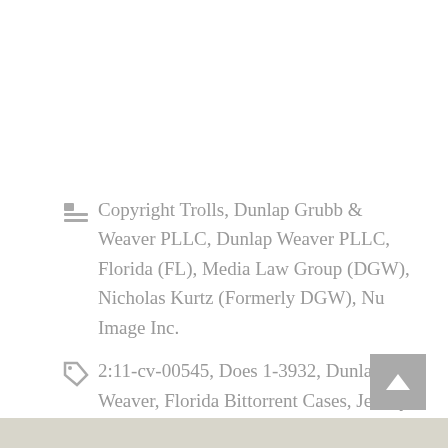Copyright Trolls, Dunlap Grubb & Weaver PLLC, Dunlap Weaver PLLC, Florida (FL), Media Law Group (DGW), Nicholas Kurtz (Formerly DGW), Nu Image Inc.
2:11-cv-00545, Does 1-3932, Dunlap Weaver, Florida Bittorrent Cases, Jeffrey Weaver, Judge Chappell, Judge John Steele, Judge Polster Chappell
1 Comment